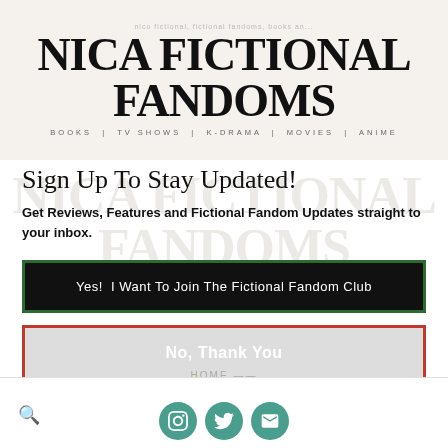[Figure (logo): Nica Fictional Fandoms logo with serif bold title text and subtitle 'BOOKS | TV SHOWS | K-DRAMA | MOVIES | ANIME' on a cream background]
Sign Up To Stay Updated!
Get Reviews, Features and Fictional Fandom Updates straight to your inbox.
Yes! I Want To Join The Fictional Fandom Club
No, Thank You
⚡ by Convertful